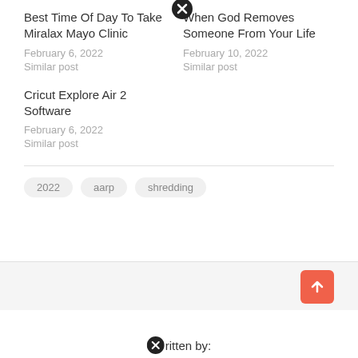Best Time Of Day To Take Miralax Mayo Clinic
February 6, 2022
Similar post
When God Removes Someone From Your Life
February 10, 2022
Similar post
Cricut Explore Air 2 Software
February 6, 2022
Similar post
2022   aarp   shredding
Written by: